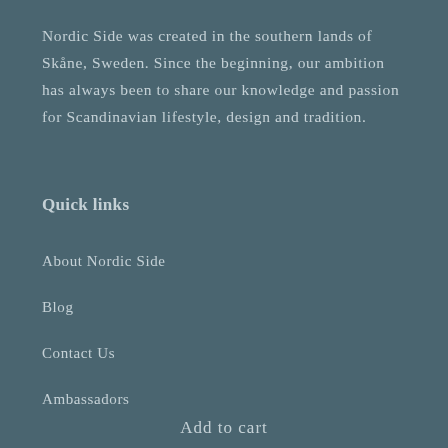Nordic Side was created in the southern lands of Skåne, Sweden. Since the beginning, our ambition has always been to share our knowledge and passion for Scandinavian lifestyle, design and tradition.
Quick links
About Nordic Side
Blog
Contact Us
Ambassadors
Add to cart